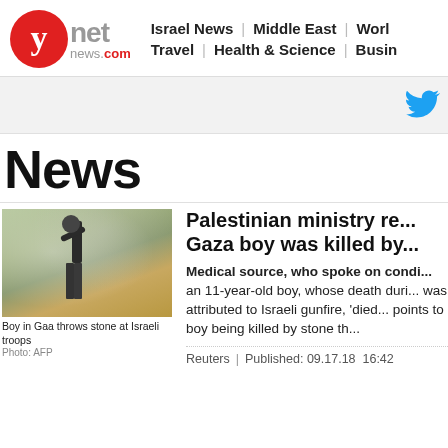[Figure (logo): Ynet News logo: red circle with white y, followed by 'net' in grey and 'news.com' below]
Israel News | Middle East | Worl
Travel | Health & Science | Busin
[Figure (other): Twitter bird icon in blue on a light grey bar]
News
[Figure (photo): Boy in Gaza throws stone at Israeli troops]
Boy in Gaa throws stone at Israeli troops
Photo: AFP
Palestinian ministry re... Gaza boy was killed by...
Medical source, who spoke on condi... an 11-year-old boy, whose death duri... was attributed to Israeli gunfire, 'died... points to boy being killed by stone th...
Reuters | Published: 09.17.18 16:42